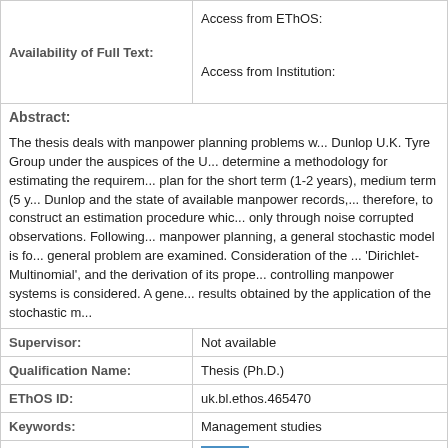| Availability of Full Text: |  |
| --- | --- |
|  | Access from EThOS:

Access from Institution: |
Abstract:
The thesis deals with manpower planning problems w... Dunlop U.K. Tyre Group under the auspices of the U... determine a methodology for estimating the requirem... plan for the short term (1-2 years), medium term (5 y... Dunlop and the state of available manpower records,... therefore, to construct an estimation procedure whic... only through noise corrupted observations. Following... manpower planning, a general stochastic model is fo... general problem are examined. Consideration of the ... 'Dirichlet-Multinomial', and the derivation of its prope... controlling manpower systems is considered. A gene... results obtained by the application of the stochastic m...
| Supervisor: | Not available |
| --- | --- |
| Qualification Name: | Thesis (Ph.D.) |
| EThOS ID: | uk.bl.ethos.465470 |
| Keywords: | Management studies |
| Share: |  |